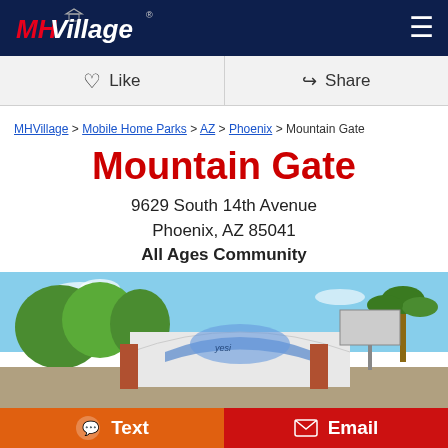MHVillage navigation bar with logo and menu icon
Like   Share
MHVillage > Mobile Home Parks > AZ > Phoenix > Mountain Gate
Mountain Gate
9629 South 14th Avenue
Phoenix, AZ 85041
All Ages Community
[Figure (photo): Exterior photo of Mountain Gate mobile home park entrance with white arch structure displaying community mural, surrounded by trees under blue sky]
Text   Email